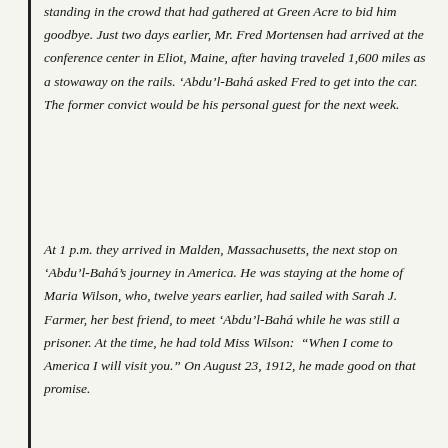standing in the crowd that had gathered at Green Acre to bid him goodbye. Just two days earlier, Mr. Fred Mortensen had arrived at the conference center in Eliot, Maine, after having traveled 1,600 miles as a stowaway on the rails. ‘Abdu’l-Bahá asked Fred to get into the car. The former convict would be his personal guest for the next week.
At 1 p.m. they arrived in Malden, Massachusetts, the next stop on ‘Abdu’l-Bahá’s journey in America. He was staying at the home of Maria Wilson, who, twelve years earlier, had sailed with Sarah J. Farmer, her best friend, to meet ‘Abdu’l-Bahá while he was still a prisoner. At the time, he had told Miss Wilson: “When I come to America I will visit you.” On August 23, 1912, he made good on that promise.